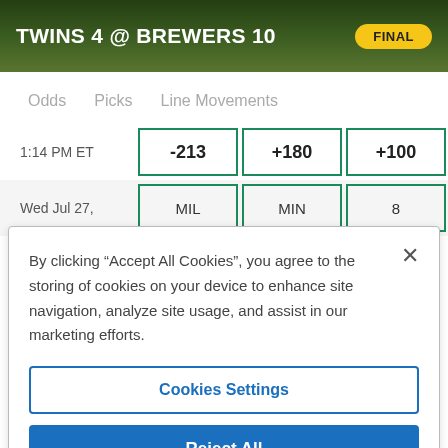TWINS 4 @ BREWERS 10 — FINAL
Odds   Picks   Line Movements
| Time | Col1 | Col2 | Col3 |
| --- | --- | --- | --- |
| 1:14 PM ET | -213 | +180 | +100 |
| Wed Jul 27, | MIL | MIN | 8 |
By clicking “Accept All Cookies”, you agree to the storing of cookies on your device to enhance site navigation, analyze site usage, and assist in our marketing efforts.
Cookies Settings
Reject All
Accept All Cookies